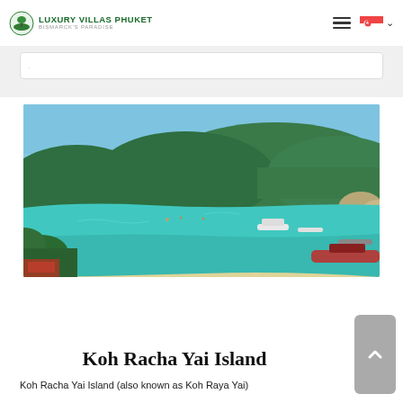Luxury Villas Phuket – Bismarck's Paradise (navbar with logo, hamburger menu, Singapore flag)
[Figure (screenshot): Search/booking bar with light grey background and white input field]
[Figure (photo): Aerial view of Koh Racha Yai Island beach with turquoise water, white sand, boats, and forested hills under blue sky]
Koh Racha Yai Island
Koh Racha Yai Island (also known as Koh Raya Yai)